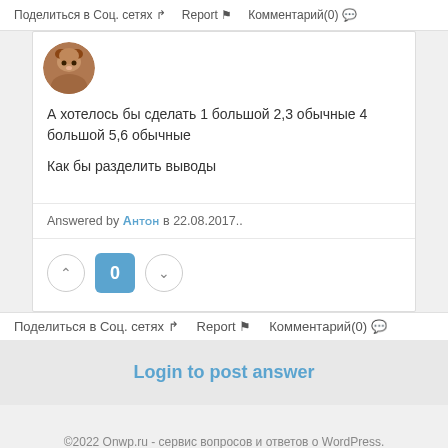Поделиться в Соц. сетях  Report  Комментарий(0)
А хотелось бы сделать 1 большой 2,3 обычные 4 большой 5,6 обычные

Как бы разделить выводы
Answered by АНТОН в 22.08.2017..
0
Поделиться в Соц. сетях  Report  Комментарий(0)
Login to post answer
©2022 Onwp.ru - сервис вопросов и ответов о WordPress.
Terms & Privacy